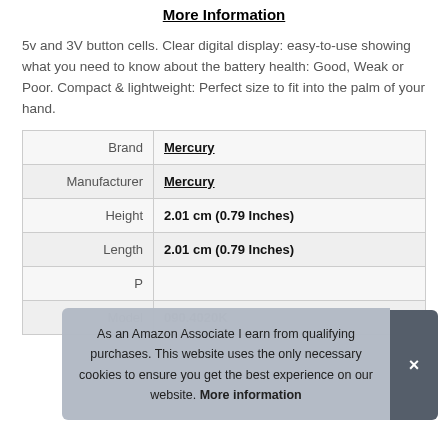More Information
5v and 3V button cells. Clear digital display: easy-to-use showing what you need to know about the battery health: Good, Weak or Poor. Compact & lightweight: Perfect size to fit into the palm of your hand.
|  |  |
| --- | --- |
| Brand | Mercury |
| Manufacturer | Mercury |
| Height | 2.01 cm (0.79 Inches) |
| Length | 2.01 cm (0.79 Inches) |
| P |  |
| Model | 090.4020K |
As an Amazon Associate I earn from qualifying purchases. This website uses the only necessary cookies to ensure you get the best experience on our website. More information